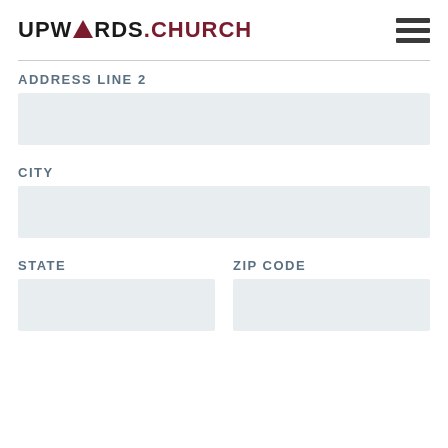UPWARDS.CHURCH
ADDRESS LINE 2
CITY
STATE
ZIP CODE